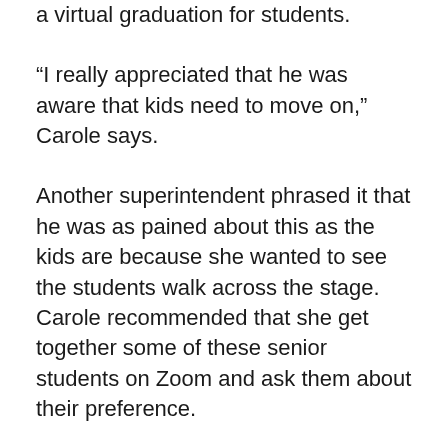a virtual graduation for students.
“I really appreciated that he was aware that kids need to move on,” Carole says.
Another superintendent phrased it that he was as pained about this as the kids are because she wanted to see the students walk across the stage. Carole recommended that she get together some of these senior students on Zoom and ask them about their preference.
We have to acknowledge there is a bit of a mourning that’s happening with a lot of these things that are not taking place in the way that they thought they were.